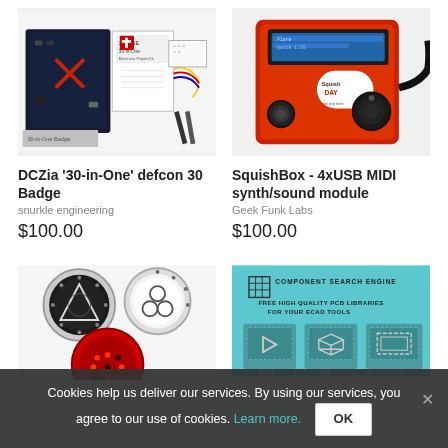[Figure (photo): DCZia 30-in-One defcon 30 Badge kit with electronics components, breadboard, wires, and instruction manual]
[Figure (photo): SquishBox red enclosure with LCD display showing Flare patch 1:26, Squish DAY branding, two buttons and a knob]
DCZia '30-in-One' defcon 30 Badge
snurkle engineering
$100.00
SquishBox - 4xUSB MIDI synth/sound module
Geek Funk Labs
$100.00
[Figure (photo): Three circular badge spinners with triangle, triquetra, and dot matrix designs]
[Figure (screenshot): Component Search Engine - Free High Quality PCB Libraries for Your ECAD Tools with PCB, 3D, and Schematic icons]
Cookies help us deliver our services. By using our services, you agree to our use of cookies. Learn more.